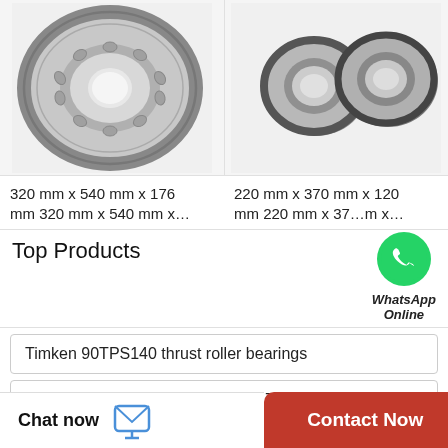[Figure (photo): Large spherical/cylindrical roller bearing, metallic gray, left side product image]
[Figure (photo): Two small ball bearings side by side, metallic gray, right side product image]
320 mm x 540 mm x 176 mm 320 mm x 540 mm x…
220 mm x 370 mm x 120 mm 220 mm x 370 mm x…
Top Products
[Figure (logo): WhatsApp green circle icon with phone handset]
WhatsApp Online
Timken 90TPS140 thrust roller bearings
130 mm x 200 mm x 33 mm NTN 7026DF angular contact ball bearings
Chat now
Contact Now